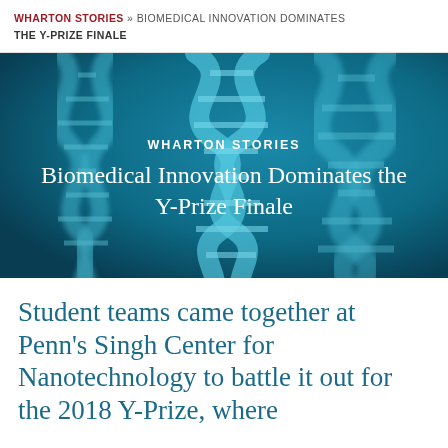WHARTON STORIES » BIOMEDICAL INNOVATION DOMINATES THE Y-PRIZE FINALE
[Figure (photo): Blue-tinted DNA double helix strands on dark teal background with overlaid text: WHARTON STORIES / Biomedical Innovation Dominates the Y-Prize Finale]
Student teams came together at Penn's Singh Center for Nanotechnology to battle it out for the 2018 Y-Prize, where